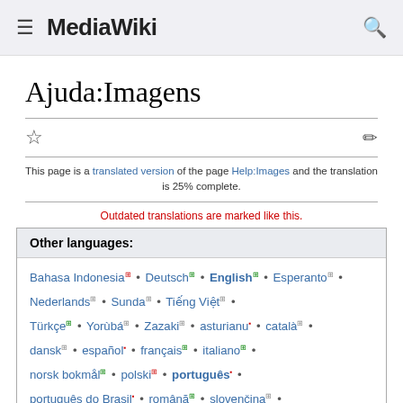MediaWiki
Ajuda:Imagens
This page is a translated version of the page Help:Images and the translation is 25% complete.
Outdated translations are marked like this.
Other languages:
Bahasa Indonesia • Deutsch • English • Esperanto • Nederlands • Sunda • Tiếng Việt • Türkçe • Yorùbá • Zazaki • asturianu • català • dansk • español • français • italiano • norsk bokmål • polski • português • português do Brasil • română • slovenčina •